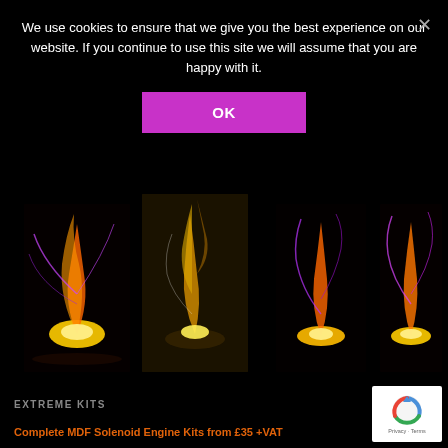We use cookies to ensure that we give you the best experience on our website. If you continue to use this site we will assume that you are happy with it.
[Figure (screenshot): OK button in purple/magenta color for cookie consent]
[Figure (photo): Four fire/plasma discharge photographs showing orange-yellow flames and purple electrical arcs on black background]
EXTREME KITS
Complete MDF Solenoid Engine Kits from £35 +VAT